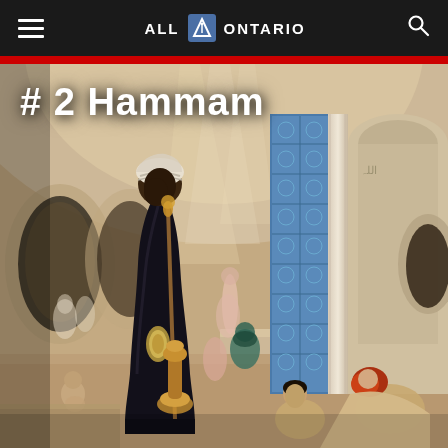ALL ONTARIO
[Figure (illustration): Oriental painting depicting a hammam (Turkish bath) scene with figures in a grand interior with ornate blue tilework, arched ceilings, and light streaming through holes in the dome. A robed figure in dark clothing and turban stands prominently. Several nude figures are visible in the bath area.]
# 2 Hammam